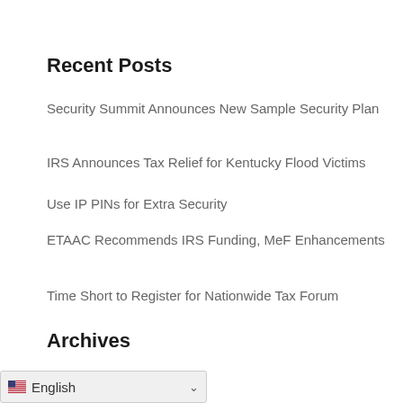Recent Posts
Security Summit Announces New Sample Security Plan
IRS Announces Tax Relief for Kentucky Flood Victims
Use IP PINs for Extra Security
ETAAC Recommends IRS Funding, MeF Enhancements
Time Short to Register for Nationwide Tax Forum
Archives
August 2022
July 2022
June 2022